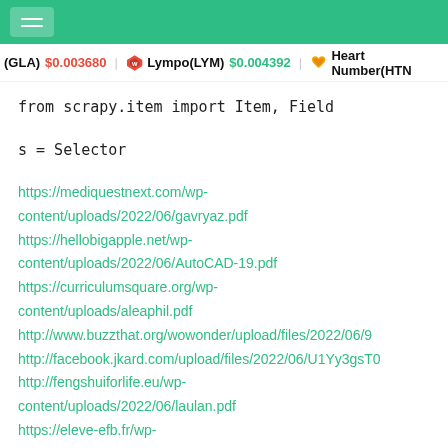Hamburger menu / top navigation bar with green background
(GLA) $0.003680   Lympo(LYM) $0.004392   Heart Number(HTN
from scrapy.item import Item, Field
s = Selector
https://mediquestnext.com/wp-content/uploads/2022/06/gavryaz.pdf
https://hellobigapple.net/wp-content/uploads/2022/06/AutoCAD-19.pdf
https://curriculumsquare.org/wp-content/uploads/aleaphil.pdf
http://www.buzzthat.org/wowonder/upload/files/2022/06/9
http://facebook.jkard.com/upload/files/2022/06/U1Yy3gsT0
http://fengshuiforlife.eu/wp-content/uploads/2022/06/laulan.pdf
https://eleve-efb.fr/wp-content/uploads/2022/06/AutoCAD-31.pdf
https://printeleven.com/wp-